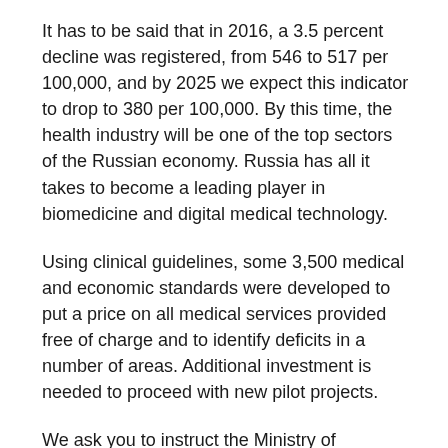It has to be said that in 2016, a 3.5 percent decline was registered, from 546 to 517 per 100,000, and by 2025 we expect this indicator to drop to 380 per 100,000. By this time, the health industry will be one of the top sectors of the Russian economy. Russia has all it takes to become a leading player in biomedicine and digital medical technology.
Using clinical guidelines, some 3,500 medical and economic standards were developed to put a price on all medical services provided free of charge and to identify deficits in a number of areas. Additional investment is needed to proceed with new pilot projects.
We ask you to instruct the Ministry of Healthcare, the Ministry of Economic Development and the Ministry of Finance to carry out a joint analysis of all the necessary calculations to understand whether additional funding will be needed and where it can come from taking into account the projected tax adjustments. Investment in public health promises...